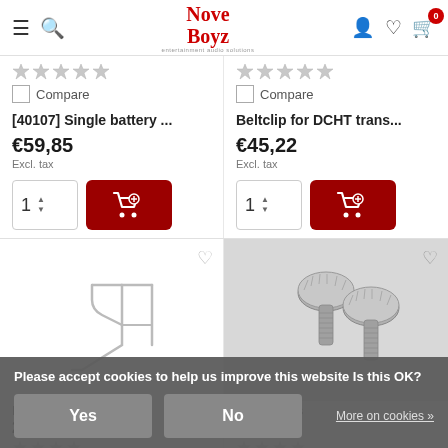NoveBoyz — entertainment audio solutions
[Figure (screenshot): Product listing page showing two products with ratings, compare checkboxes, prices, and add-to-cart buttons]
[40107] Single battery ...
€59,85 Excl. tax
Beltclip for DCHT trans...
€45,22 Excl. tax
[Figure (photo): Metal wire beltclip product photo on white background]
[Figure (photo): Two metal thumb screws on grey background]
Lectrosonics
26895
Lectrosonics
268...
Please accept cookies to help us improve this website Is this OK?
More on cookies »
Yes
No